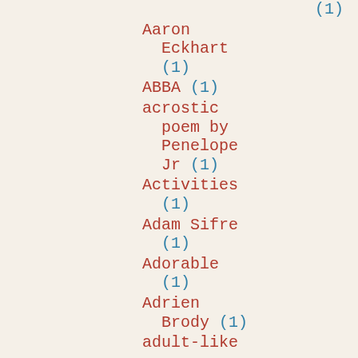(1)
Aaron Eckhart (1)
ABBA (1)
acrostic poem by Penelope Jr (1)
Activities (1)
Adam Sifre (1)
Adorable (1)
Adrien Brody (1)
adult-like